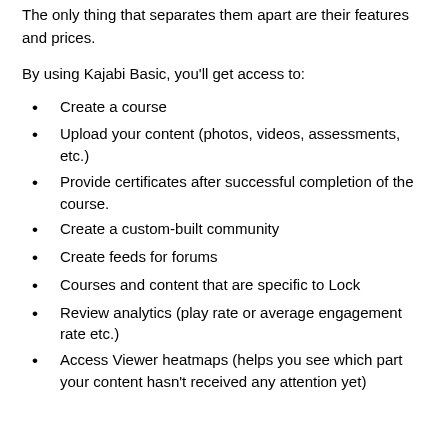The only thing that separates them apart are their features and prices.
By using Kajabi Basic, you'll get access to:
Create a course
Upload your content (photos, videos, assessments, etc.)
Provide certificates after successful completion of the course.
Create a custom-built community
Create feeds for forums
Courses and content that are specific to Lock
Review analytics (play rate or average engagement rate etc.)
Access Viewer heatmaps (helps you see which part your content hasn't received any attention yet)